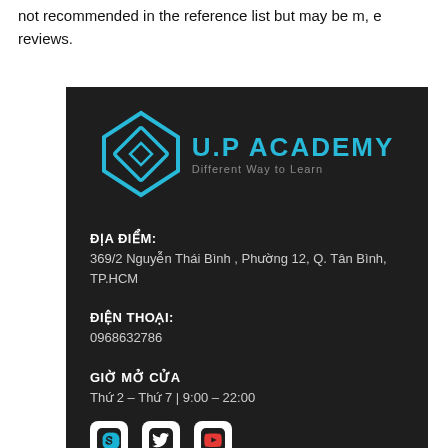not recommended in the reference list but may be m, e reviews.
[Figure (logo): U.P Academy logo with diamond/rhombus shape in cyan/blue and text 'U.P ACADEMY - Different Way to Learn']
ĐỊA ĐIỂM:
369/2 Nguyễn Thái Bình , Phường 12, Q. Tân Bình, TP.HCM
ĐIỆN THOẠI:
0968632786
GIỜ MỞ CỬA
Thứ 2 – Thứ 7 | 9:00 – 22:00
[Figure (illustration): Social media icons: Skype, Twitter, YouTube]